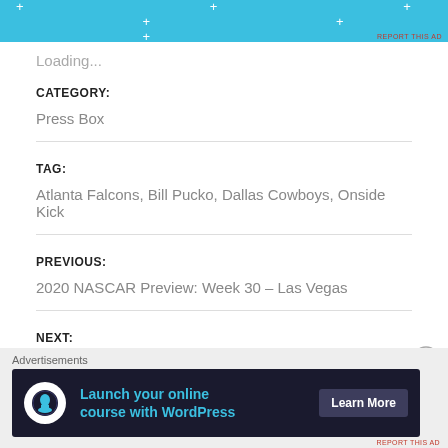[Figure (other): Blue advertisement banner with white star/plus decorative elements at the top of the page]
Loading...
CATEGORY:
Press Box
TAG:
Atlanta Falcons, Bill Pucko, Dallas Cowboys, Onside Kick
PREVIOUS:
2020 NASCAR Preview: Week 30 – Las Vegas
NEXT:
[Figure (other): Advertisement banner: 'Launch your online course with WordPress' with Learn More button, dark background]
Advertisements